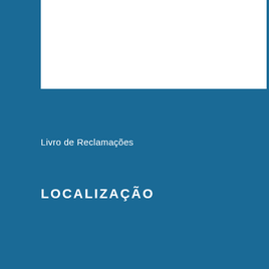[Figure (other): White rectangular box in the upper portion of the page against a blue background]
Livro de Reclamações
LOCALIZAÇÃO